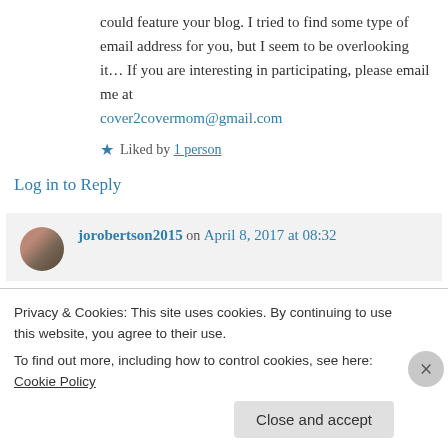could feature your blog. I tried to find some type of email address for you, but I seem to be overlooking it… If you are interesting in participating, please email me at cover2covermom@gmail.com
★ Liked by 1 person
Log in to Reply
jorobertson2015 on April 8, 2017 at 08:32
Privacy & Cookies: This site uses cookies. By continuing to use this website, you agree to their use.
To find out more, including how to control cookies, see here: Cookie Policy